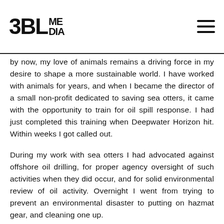3BL MEDIA
by now, my love of animals remains a driving force in my desire to shape a more sustainable world. I have worked with animals for years, and when I became the director of a small non-profit dedicated to saving sea otters, it came with the opportunity to train for oil spill response. I had just completed this training when Deepwater Horizon hit. Within weeks I got called out.
During my work with sea otters I had advocated against offshore oil drilling, for proper agency oversight of such activities when they did occur, and for solid environmental review of oil activity. Overnight I went from trying to prevent an environmental disaster to putting on hazmat gear, and cleaning one up.
I don't have to tell you that the spill was devastating. You've seen the pictures, no doubt. You may have stopped looking at some point when it got to be too much, but I'll bet that image of an oil soaked pelican is still